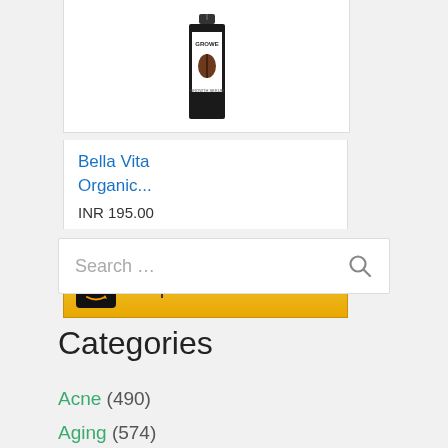[Figure (photo): Product image of Bella Vita Organic hair/beard growth serum bottle in black packaging with white label showing GROWE text]
Bella Vita Organic...
INR 195.00
[Figure (other): Amazon Shop now button with Amazon logo and golden background]
Search …
Categories
Acne (490)
Aging (574)